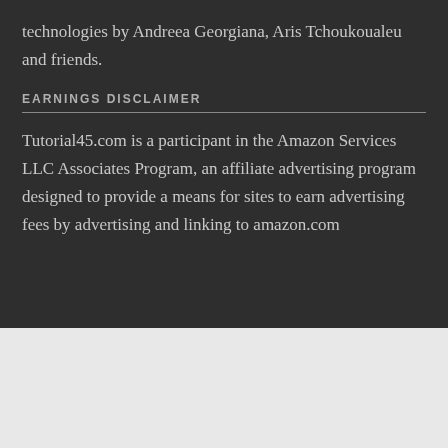technologies by Andreea Georgiana, Aris Tchoukoualeu and friends.
EARNINGS DISCLAIMER
Tutorial45.com is a participant in the Amazon Services LLC Associates Program, an affiliate advertising program designed to provide a means for sites to earn advertising fees by advertising and linking to amazon.com